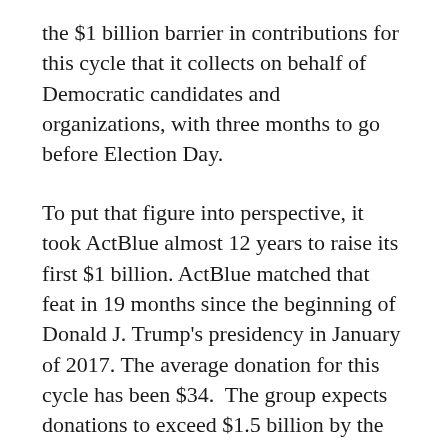the $1 billion barrier in contributions for this cycle that it collects on behalf of Democratic candidates and organizations, with three months to go before Election Day.
To put that figure into perspective, it took ActBlue almost 12 years to raise its first $1 billion. ActBlue matched that feat in 19 months since the beginning of Donald J. Trump's presidency in January of 2017. The average donation for this cycle has been $34.  The group expects donations to exceed $1.5 billion by the end of the year, which was twice the amount the organization raised during the 2016 election cycle.